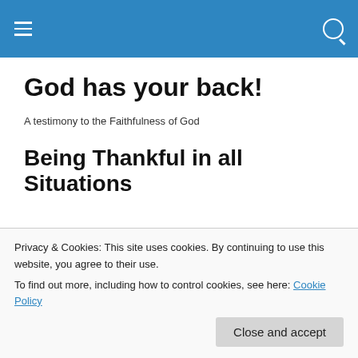Navigation bar with hamburger menu and search icon
God has your back!
A testimony to the Faithfulness of God
Being Thankful in all Situations
This day was one of those unexpected days where I
Privacy & Cookies: This site uses cookies. By continuing to use this website, you agree to their use.
To find out more, including how to control cookies, see here: Cookie Policy
Close and accept
have been blessed with some great people to work with